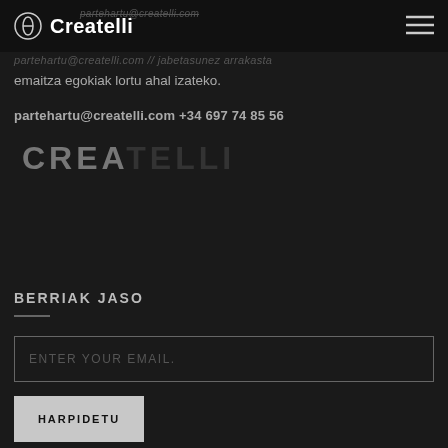Createlli
emaitza egokiak lortu ahal izateko.
partehartu@createlli.com +34 697 74 85 56
CREATELLI
BERRIAK JASO
ENTER YOUR EMAIL.
HARPIDETU